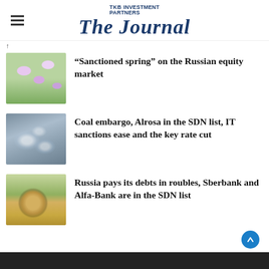TKB Investment Partners — The Journal
↑
[Figure (photo): Purple flowers with green grass background]
“Sanctioned spring” on the Russian equity market
[Figure (photo): Diamonds on grey gravel surface]
Coal embargo, Alrosa in the SDN list, IT sanctions ease and the key rate cut
[Figure (photo): Russian 5 ruble coin on euro banknotes]
Russia pays its debts in roubles, Sberbank and Alfa-Bank are in the SDN list